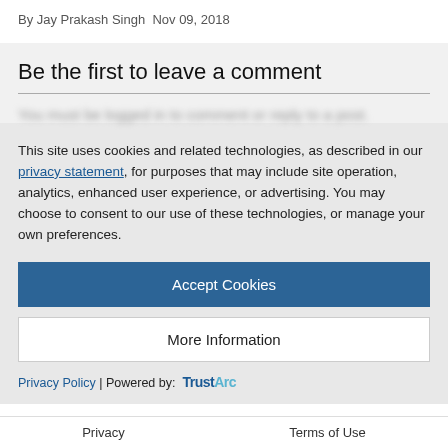By Jay Prakash Singh  Nov 09, 2018
Be the first to leave a comment
You must be logged in to comment or reply to a post.
This site uses cookies and related technologies, as described in our privacy statement, for purposes that may include site operation, analytics, enhanced user experience, or advertising. You may choose to consent to our use of these technologies, or manage your own preferences.
Accept Cookies
More Information
Privacy Policy | Powered by: TrustArc
Privacy   Terms of Use